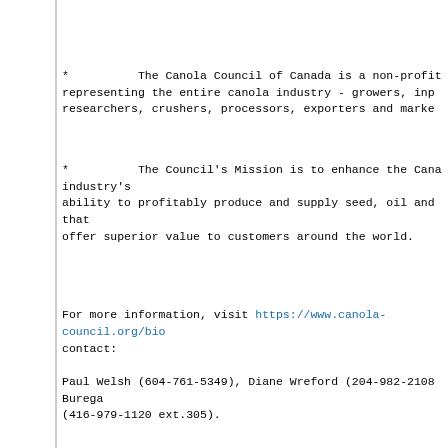*          The Canola Council of Canada is a non-profit representing the entire canola industry - growers, inp researchers, crushers, processors, exporters and marke
*          The Council's Mission is to enhance the Cana industry's
ability to profitably produce and supply seed, oil and that
offer superior value to customers around the world.
For more information, visit https://www.canola-council.org/bio contact:

Paul Welsh (604-761-5349), Diane Wreford (204-982-2108 Burega
(416-979-1120 ext.305).